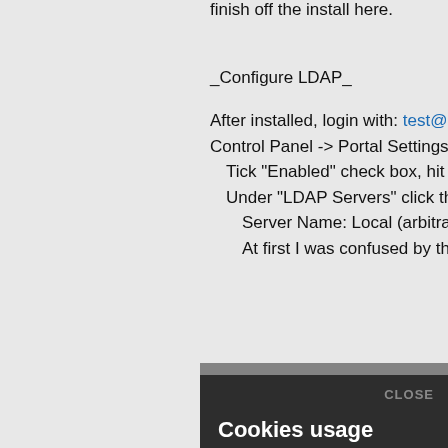finish off the install here.
_Configure LDAP_
After installed, login with: test@liferay.com / p
Control Panel -> Portal Settings -> Authentica
  Tick "Enabled" check box, hit save.
  Under "LDAP Servers" click the "Add" butto
    Server Name: Local (arbitrary, i chose Loc
    At first I was confused by the "Default Valu
[Figure (screenshot): Cookie consent modal overlay with dark background. Title: 'Cookies usage'. Body text: 'This website uses cookies for security reasons, to manage registered user sessions, interact with social networks, analyze visits and activities of anonymous or registered users, and to keep the selected language in your navigation through our pages. Any action in this website implies consent for installation and usage. For more information see our cookies policy.' Close button labeled 'CLOSE' in top right.]
which app i used specifically), this is somethi